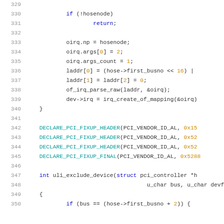[Figure (screenshot): Source code listing showing lines 329-350 of a C kernel file with syntax highlighting. Lines show PCI fixup declarations and device exclusion function.]